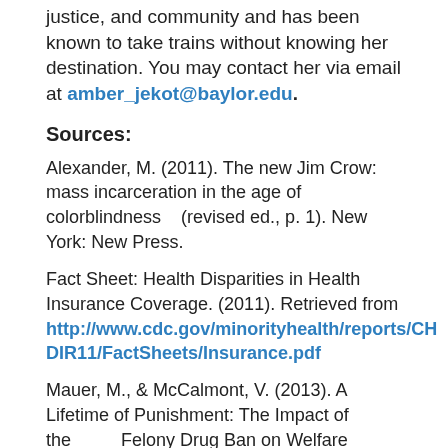justice, and community and has been known to take trains without knowing her destination. You may contact her via email at amber_jekot@baylor.edu.
Sources:
Alexander, M. (2011). The new Jim Crow: mass incarceration in the age of colorblindness    (revised ed., p. 1). New York: New Press.
Fact Sheet: Health Disparities in Health Insurance Coverage. (2011). Retrieved from http://www.cdc.gov/minorityhealth/reports/CHDIR11/FactSheets/Insurance.pdf
Mauer, M., & McCalmont, V. (2013). A Lifetime of Punishment: The Impact of the           Felony Drug Ban on Welfare Benefits. Retrieved from
http://sentencingproject.org/doc/publicationsc